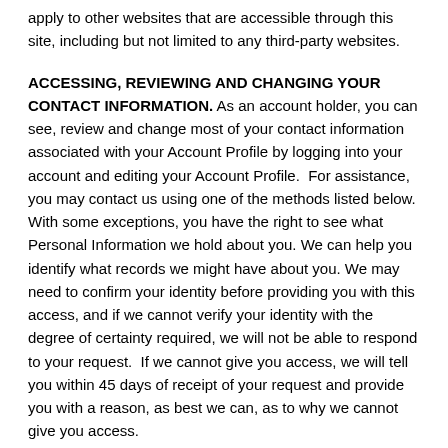apply to other websites that are accessible through this site, including but not limited to any third-party websites.
ACCESSING, REVIEWING AND CHANGING YOUR CONTACT INFORMATION.
As an account holder, you can see, review and change most of your contact information associated with your Account Profile by logging into your account and editing your Account Profile.  For assistance, you may contact us using one of the methods listed below. With some exceptions, you have the right to see what Personal Information we hold about you. We can help you identify what records we might have about you. We may need to confirm your identity before providing you with this access, and if we cannot verify your identity with the degree of certainty required, we will not be able to respond to your request.  If we cannot give you access, we will tell you within 45 days of receipt of your request and provide you with a reason, as best we can, as to why we cannot give you access.